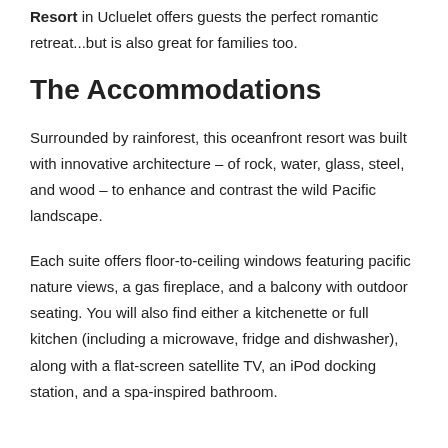Resort in Ucluelet offers guests the perfect romantic retreat...but is also great for families too.
The Accommodations
Surrounded by rainforest, this oceanfront resort was built with innovative architecture – of rock, water, glass, steel, and wood – to enhance and contrast the wild Pacific landscape.
Each suite offers floor-to-ceiling windows featuring pacific nature views, a gas fireplace, and a balcony with outdoor seating. You will also find either a kitchenette or full kitchen (including a microwave, fridge and dishwasher), along with a flat-screen satellite TV, an iPod docking station, and a spa-inspired bathroom.